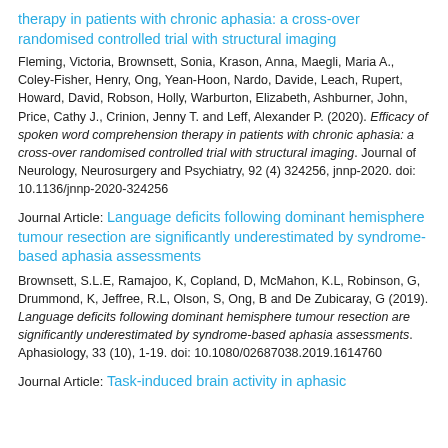therapy in patients with chronic aphasia: a cross-over randomised controlled trial with structural imaging
Fleming, Victoria, Brownsett, Sonia, Krason, Anna, Maegli, Maria A., Coley-Fisher, Henry, Ong, Yean-Hoon, Nardo, Davide, Leach, Rupert, Howard, David, Robson, Holly, Warburton, Elizabeth, Ashburner, John, Price, Cathy J., Crinion, Jenny T. and Leff, Alexander P. (2020). Efficacy of spoken word comprehension therapy in patients with chronic aphasia: a cross-over randomised controlled trial with structural imaging. Journal of Neurology, Neurosurgery and Psychiatry, 92 (4) 324256, jnnp-2020. doi: 10.1136/jnnp-2020-324256
Journal Article:
Language deficits following dominant hemisphere tumour resection are significantly underestimated by syndrome-based aphasia assessments
Brownsett, S.L.E, Ramajoo, K, Copland, D, McMahon, K.L, Robinson, G, Drummond, K, Jeffree, R.L, Olson, S, Ong, B and De Zubicaray, G (2019). Language deficits following dominant hemisphere tumour resection are significantly underestimated by syndrome-based aphasia assessments. Aphasiology, 33 (10), 1-19. doi: 10.1080/02687038.2019.1614760
Journal Article:
Task-induced brain activity in aphasic